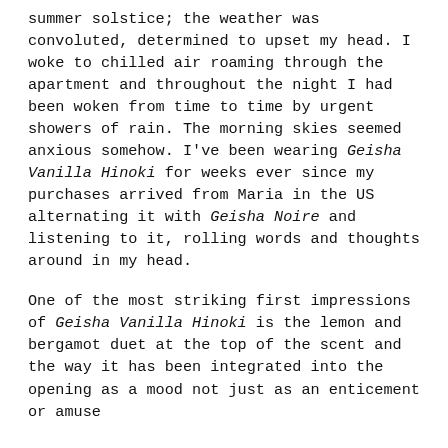summer solstice; the weather was convoluted, determined to upset my head. I woke to chilled air roaming through the apartment and throughout the night I had been woken from time to time by urgent showers of rain. The morning skies seemed anxious somehow. I've been wearing Geisha Vanilla Hinoki for weeks ever since my purchases arrived from Maria in the US alternating it with Geisha Noire and listening to it, rolling words and thoughts around in my head.
One of the most striking first impressions of Geisha Vanilla Hinoki is the lemon and bergamot duet at the top of the scent and the way it has been integrated into the opening as a mood not just as an enticement or amuse